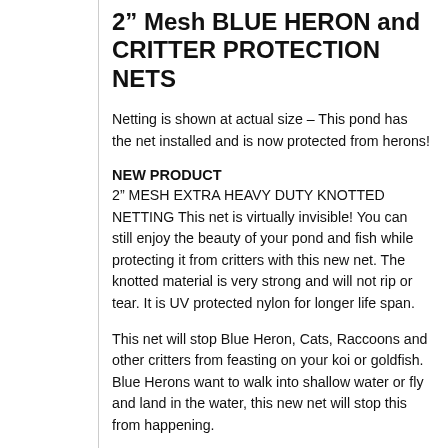2" Mesh BLUE HERON and CRITTER PROTECTION NETS
Netting is shown at actual size – This pond has the net installed and is now protected from herons!
NEW PRODUCT
2" MESH EXTRA HEAVY DUTY KNOTTED NETTING This net is virtually invisible! You can still enjoy the beauty of your pond and fish while protecting it from critters with this new net. The knotted material is very strong and will not rip or tear. It is UV protected nylon for longer life span.
This net will stop Blue Heron, Cats, Raccoons and other critters from feasting on your koi or goldfish. Blue Herons want to walk into shallow water or fly and land in the water, this new net will stop this from happening.
The Blue Heron and Critter Protection net can be